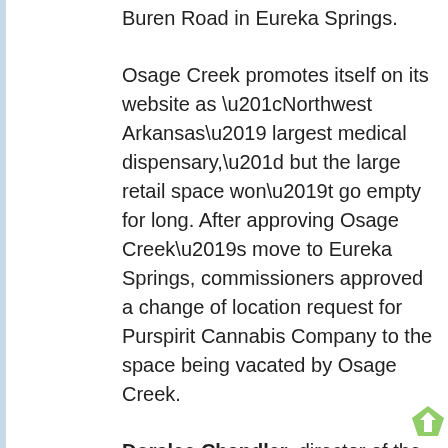Buren Road in Eureka Springs.
Osage Creek promotes itself on its website as “Northwest Arkansas’ largest medical dispensary,” but the large retail space won’t go empty for long. After approving Osage Creek’s move to Eureka Springs, commissioners approved a change of location request for Purspirit Cannabis Company to the space being vacated by Osage Creek.
Doralee Chandler, director of the state Alcohol Beverage Control Administration, said Purspirit’s move was driven by a “desire to expand” and that the Osage Creek space offered room for such an expansion.
Osage Creek and Purspirit are located half a